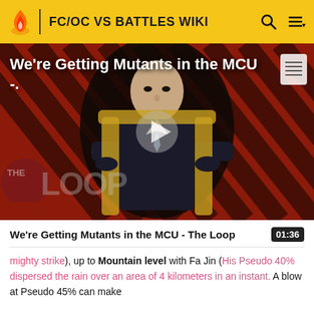FC/OC VS BATTLES WIKI
[Figure (screenshot): Video thumbnail for 'We're Getting Mutants in the MCU - The Loop' showing a bald man in a suit seated in a chair, with a striped red/black background and THE LOOP logo overlay. A play button is visible in the center.]
We're Getting Mutants in the MCU - The Loop
mighty strike), up to Mountain level with Fa Jin (His Pseudo 40% dispersed the rain over an area of 4 kilometers in an instant. A blow at Pseudo 45% can make